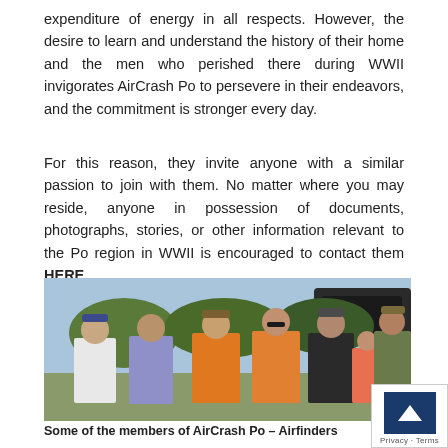expenditure of energy in all respects. However, the desire to learn and understand the history of their home and the men who perished there during WWII invigorates AirCrash Po to persevere in their endeavors, and the commitment is stronger every day.
For this reason, they invite anyone with a similar passion to join with them. No matter where you may reside, anyone in possession of documents, photographs, stories, or other information relevant to the Po region in WWII is encouraged to contact them HERE.
[Figure (photo): Group photo of several members of AirCrash Po – Airfinders standing outdoors, casually dressed, smiling at the camera.]
Some of the members of AirCrash Po – Airfinders